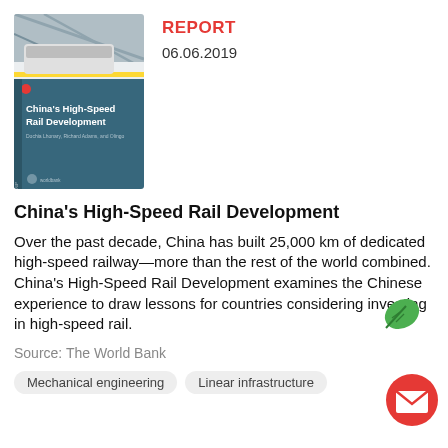[Figure (photo): Book cover of 'China's High-Speed Rail Development' with a train station photo at top and teal background with white title text]
REPORT
06.06.2019
China's High-Speed Rail Development
Over the past decade, China has built 25,000 km of dedicated high-speed railway—more than the rest of the world combined. China's High-Speed Rail Development examines the Chinese experience to draw lessons for countries considering investing in high-speed rail.
Source: The World Bank
Mechanical engineering
Linear infrastructure